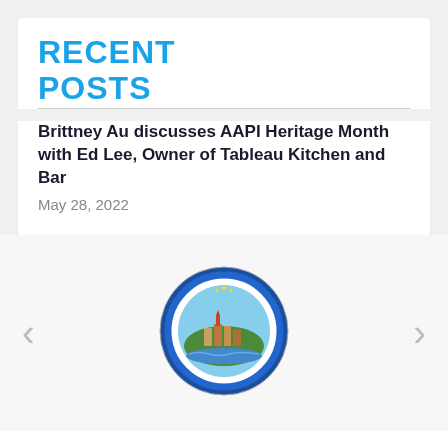RECENT POSTS
Brittney Au discusses AAPI Heritage Month with Ed Lee, Owner of Tableau Kitchen and Bar
May 28, 2022
[Figure (logo): City of Costa Mesa, California official seal — circular badge with city imagery and text 'CITY OF COSTA MESA CALIFORNIA' and 'INCORPORATED 1953']
Travel Costa Mesa • 151 Kalmus Drive, Suite C110 • Costa Mesa, CA 92626 • Tel.